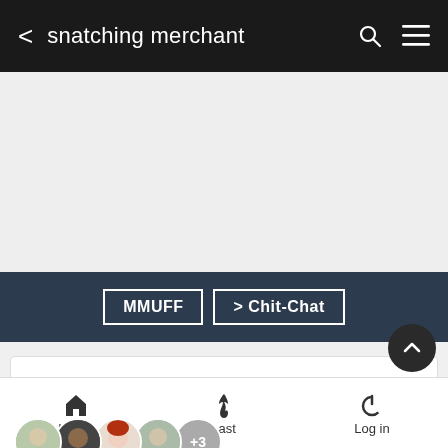snatching merchant
[Figure (screenshot): Advertisement / empty gray area]
MMUFF  > Chit-Chat
snatching merchant
7 posters
Home  Last  Log in